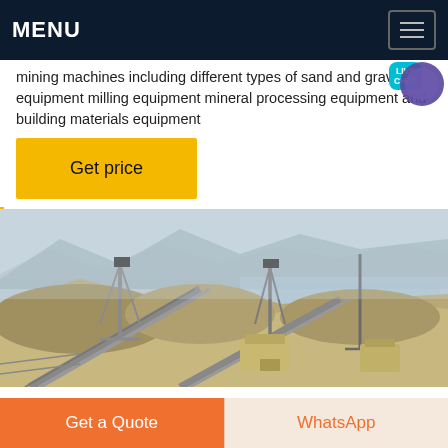MENU
mining machines including different types of sand and gravel equipment milling equipment mineral processing equipment and building materials equipment
Get price
[Figure (photo): Outdoor mining/quarry facility with conveyor belts, machinery, piles of sand and gravel, mountains in background]
Get a Quote
WhatsApp